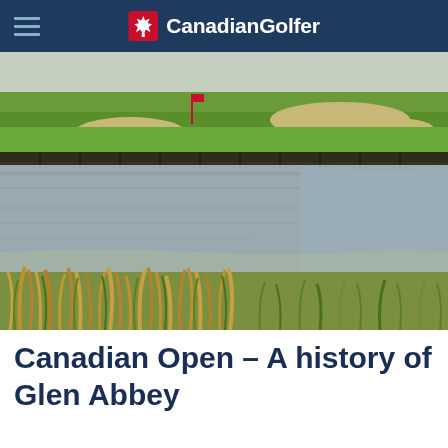CanadianGolfer
[Figure (photo): Golf course at Glen Abbey showing a water hazard/pond reflecting the sky, with manicured green fairway, sand bunkers, and golden marsh grasses in the foreground.]
Canadian Open – A history of Glen Abbey